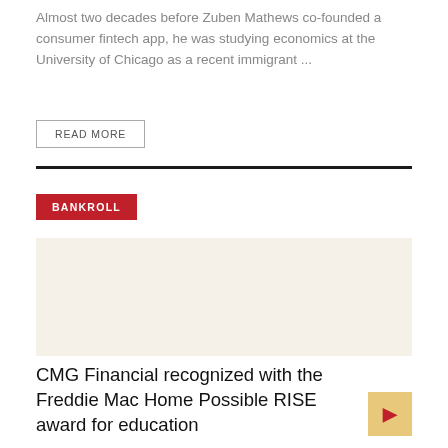Almost two decades before Zuben Mathews co-founded a consumer fintech app, he was studying economics at the University of Chicago as a recent immigrant ...
READ MORE
BANKROLL
[Figure (photo): Article image for CMG Financial / Bankroll section — light beige/cream colored background area]
CMG Financial recognized with the Freddie Mac Home Possible RISE award for education